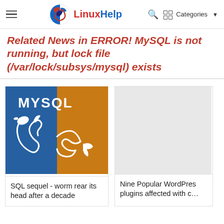LinuxHelp — Categories
Related News in ERROR! MySQL is not running, but lock file (/var/lock/subsys/mysql) exists
[Figure (logo): MySQL logo — blue left half with white dolphin, orange right half with white dolphin tail, white MYSQL text at top]
SQL sequel - worm rear its head after a decade
Nine Popular WordPress plugins affected with c…